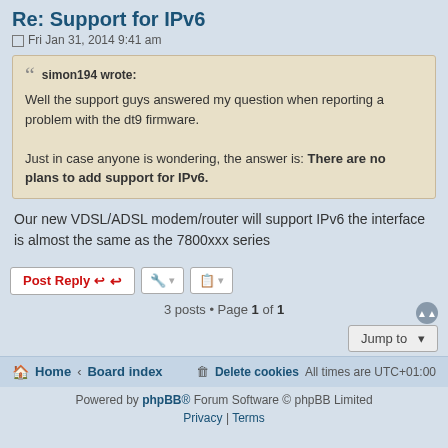Re: Support for IPv6
Fri Jan 31, 2014 9:41 am
simon194 wrote:
Well the support guys answered my question when reporting a problem with the dt9 firmware.

Just in case anyone is wondering, the answer is: There are no plans to add support for IPv6.
Our new VDSL/ADSL modem/router will support IPv6 the interface is almost the same as the 7800xxx series
Post Reply
3 posts • Page 1 of 1
Jump to
Home · Board index    Delete cookies   All times are UTC+01:00
Powered by phpBB® Forum Software © phpBB Limited
Privacy | Terms